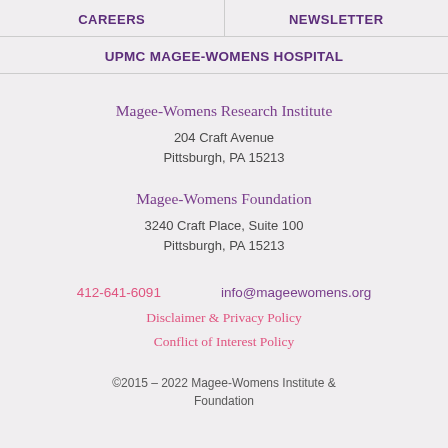CAREERS | NEWSLETTER
UPMC MAGEE-WOMENS HOSPITAL
Magee-Womens Research Institute
204 Craft Avenue
Pittsburgh, PA 15213
Magee-Womens Foundation
3240 Craft Place, Suite 100
Pittsburgh, PA 15213
412-641-6091   info@mageewomens.org
Disclaimer & Privacy Policy
Conflict of Interest Policy
©2015 – 2022 Magee-Womens Institute & Foundation